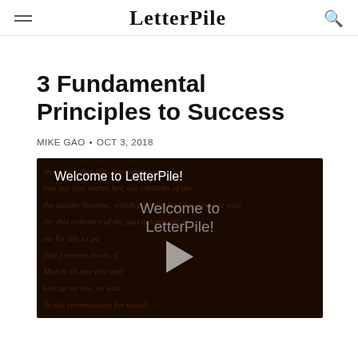LetterPile
3 Fundamental Principles to Success
MIKE GAO • OCT 3, 2018
[Figure (screenshot): Video thumbnail with dark background featuring cursive script text, overlay title 'Welcome to LetterPile!' and a play button in the center with text 'Welcome to LetterPile!']